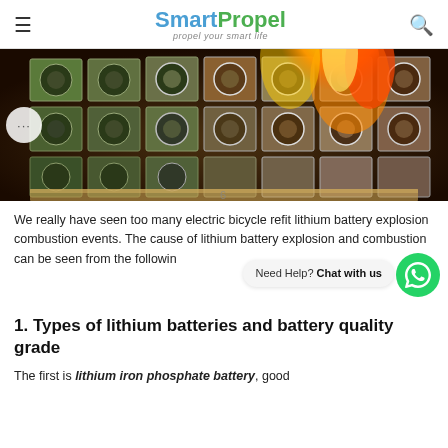SmartPropel — propel your smart life
[Figure (photo): Lithium battery cells in a box on fire, showing combustion/explosion scenario]
We really have seen too many electric bicycle refit lithium battery explosion combustion events. The cause of lithium battery explosion and combustion can be seen from the followin
1. Types of lithium batteries and battery quality grade
The first is lithium iron phosphate battery, good